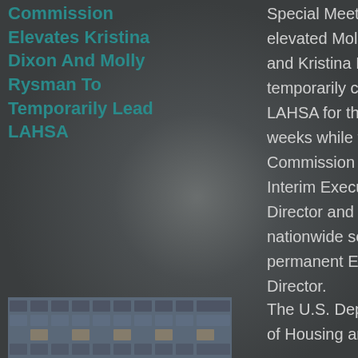Commission Elevates Kristina Dixon And Molly Rysman To Temporarily Lead LAHSA
Special Meeting and elevated Molly Rysman and Kristina Dixon to temporarily co-lead LAHSA for the next few weeks while the Commission names an Interim Executive Director and begins nationwide search for a permanent Executive Director.
[Figure (photo): Photo showing a building facade with a grid-like pattern of windows or architectural elements]
The U.S. Department of Housing and